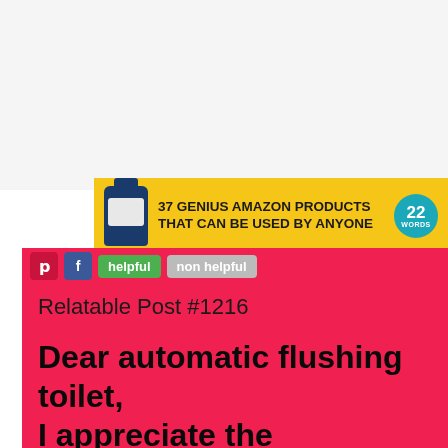[Figure (infographic): Advertisement banner with yellow background showing a supplement bottle, text '37 GENIUS AMAZON PRODUCTS THAT CAN BE USED BY ANYONE' and a teal circular badge with '22 WORDS']
[Figure (screenshot): Social media post on red/pink background with Pinterest and Facebook share buttons, helpful/non helpful buttons, titled 'Relatable Post #1216' with text: Dear automatic flushing toilet, I appreciate the enthusiasm... but I wasn't done yet.]